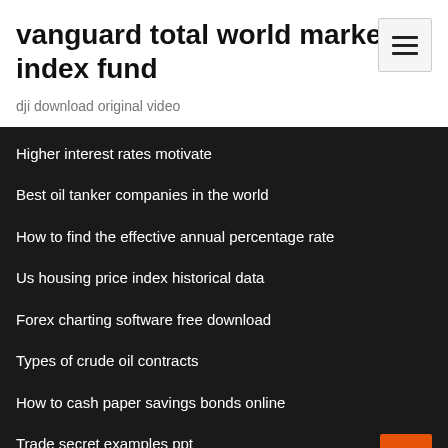vanguard total world market index fund
dji download original video
Higher interest rates motivate
Best oil tanker companies in the world
How to find the effective annual percentage rate
Us housing price index historical data
Forex charting software free download
Types of crude oil contracts
How to cash paper savings bonds online
Trade secret examples ppt
Minimum car loan interest rate